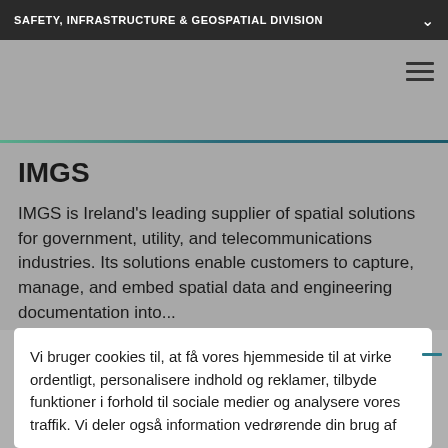SAFETY, INFRASTRUCTURE & GEOSPATIAL DIVISION
IMGS
IMGS is Ireland's leading supplier of spatial solutions for government, utility, and telecommunications industries. Its solutions enable customers to capture, manage, and embed spatial data and engineering documentation into...
Vi bruger cookies til, at få vores hjemmeside til at virke ordentligt, personalisere indhold og reklamer, tilbyde funktioner i forhold til sociale medier og analysere vores traffik. Vi deler også information vedrørende din brug af